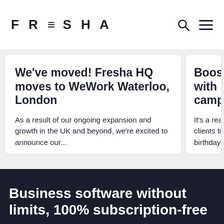FRESHA
We've moved! Fresha HQ moves to WeWork Waterloo, London
As a result of our ongoing expansion and growth in the UK and beyond, we're excited to announce our...
Boost with b camp
It's a rea clients to birthday
Business software without limits, 100% subscription-free